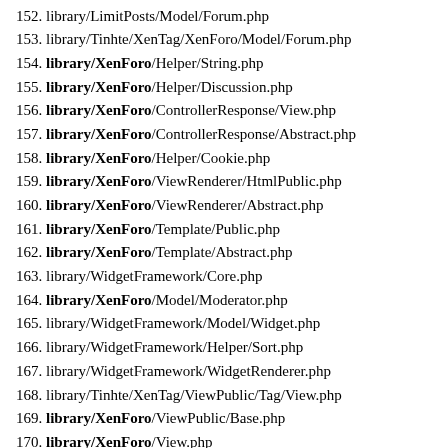152. library/LimitPosts/Model/Forum.php
153. library/Tinhte/XenTag/XenForo/Model/Forum.php
154. library/XenForo/Helper/String.php
155. library/XenForo/Helper/Discussion.php
156. library/XenForo/ControllerResponse/View.php
157. library/XenForo/ControllerResponse/Abstract.php
158. library/XenForo/Helper/Cookie.php
159. library/XenForo/ViewRenderer/HtmlPublic.php
160. library/XenForo/ViewRenderer/Abstract.php
161. library/XenForo/Template/Public.php
162. library/XenForo/Template/Abstract.php
163. library/WidgetFramework/Core.php
164. library/XenForo/Model/Moderator.php
165. library/WidgetFramework/Model/Widget.php
166. library/WidgetFramework/Helper/Sort.php
167. library/WidgetFramework/WidgetRenderer.php
168. library/Tinhte/XenTag/ViewPublic/Tag/View.php
169. library/XenForo/ViewPublic/Base.php
170. library/XenForo/View.php
171. library/ForumCustom/Listener/LoadClassView.php
172. library/WidgetFramework/XenForo/View1.php
173. library/XenForo/ViewPublic/Helper/Search.php
174. library/Ragtek/GCT/StaticMethods.php
175. library/Waindigo/CustomFields/Listener/TemplateCreate.php
176. library/Waindigo/Listener/TemplateCreate.php